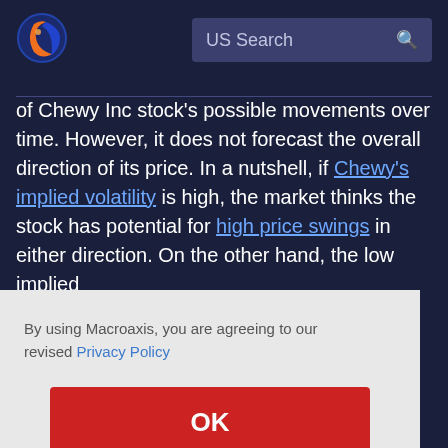[Figure (logo): Macroaxis globe logo with orange and blue coloring]
US Search
of Chewy Inc stock's possible movements over time. However, it does not forecast the overall direction of its price. In a nutshell, if Chewy's implied volatility is high, the market thinks the stock has potential for high price swings in either direction. On the other hand, the low implied
a lot
By using Macroaxis, you are agreeing to our revised Privacy Policy
OK